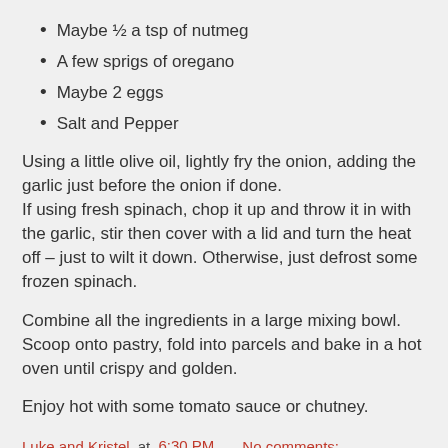Maybe ½ a tsp of nutmeg
A few sprigs of oregano
Maybe 2 eggs
Salt and Pepper
Using a little olive oil, lightly fry the onion, adding the garlic just before the onion if done.
If using fresh spinach, chop it up and throw it in with the garlic, stir then cover with a lid and turn the heat off – just to wilt it down. Otherwise, just defrost some frozen spinach.
Combine all the ingredients in a large mixing bowl.
Scoop onto pastry, fold into parcels and bake in a hot oven until crispy and golden.
Enjoy hot with some tomato sauce or chutney.
Luke and Kristel at 6:30 PM    No comments:
Share